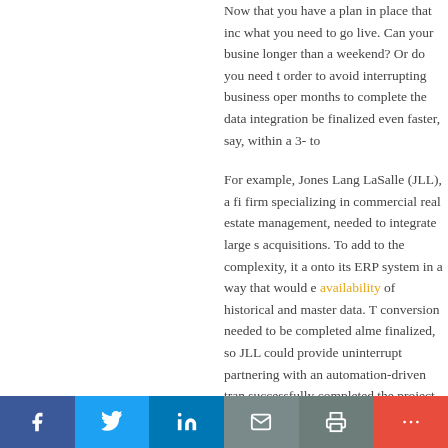Now that you have a plan in place that inc what you need to go live. Can your busine longer than a weekend? Or do you need t order to avoid interrupting business oper months to complete the data integration be finalized even faster, say, within a 3- to
For example, Jones Lang LaSalle (JLL), a fi firm specializing in commercial real estate management, needed to integrate large s acquisitions. To add to the complexity, it a onto its ERP system in a way that would e availability of historical and master data. T conversion needed to be completed alme finalized, so JLL could provide uninterrupt partnering with an automation-driven tran successfully completed the project in jus
f  Twitter  in  Email  Print  More